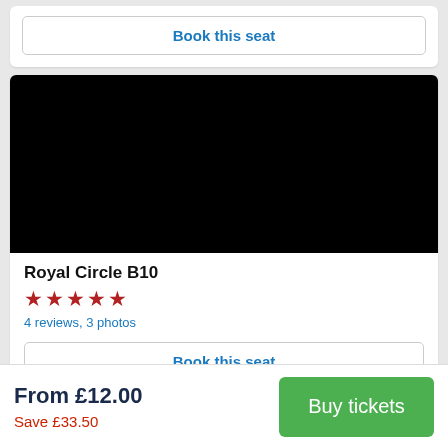Book this seat
[Figure (photo): A black seat view image (blank/dark photo of theater seat view)]
Royal Circle B10
★★★★★
4 reviews, 3 photos
Book this seat
From £12.00
Save £33.50
Buy tickets